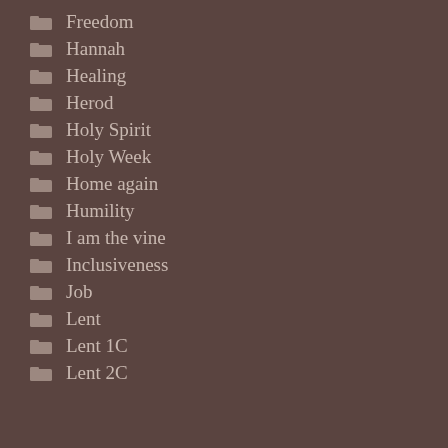Freedom
Hannah
Healing
Herod
Holy Spirit
Holy Week
Home again
Humility
I am the vine
Inclusiveness
Job
Lent
Lent 1C
Lent 2C